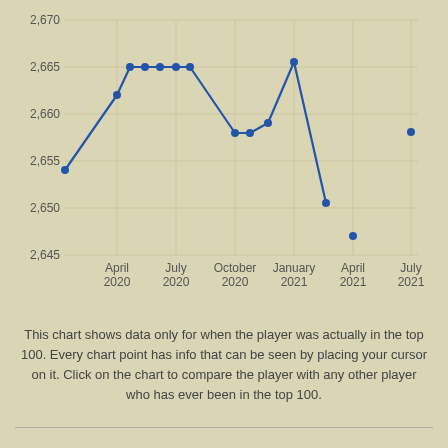[Figure (continuous-plot): Line chart showing player rating data over time from approximately January 2020 to July 2021. Y-axis ranges from 2,645 to 2,670. The line starts around 2,654 in early 2020, rises to about 2,665 by April 2020, remains relatively flat through July 2020, then drops sharply to around 2,658 by October 2020, recovers slightly to ~2,659, then spikes to ~2,665.5 in January 2021, drops sharply to ~2,650, then shows two isolated points: one at ~2,647 in April 2021, and one at ~2,658 in July 2021.]
This chart shows data only for when the player was actually in the top 100. Every chart point has info that can be seen by placing your cursor on it. Click on the chart to compare the player with any other player who has ever been in the top 100.